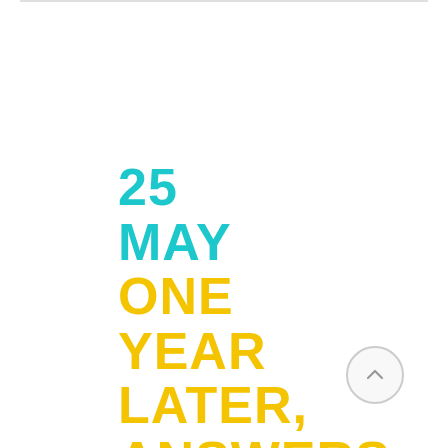25 MAY ONE YEAR LATER, ANSWERS TO
[Figure (illustration): A circular scroll-to-top button with an upward arrow icon, positioned in the lower right area of the page]